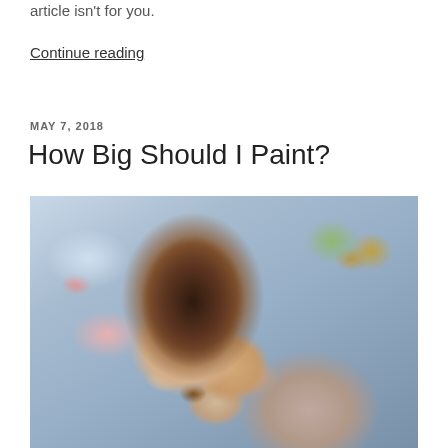article isn't for you.
Continue reading
MAY 7, 2018
How Big Should I Paint?
[Figure (photo): Watercolor or pastel painting of a young girl with dark curly hair, wearing a white lace-collared dress, leaning on a railing, looking at the viewer with a gentle smile. Colorful abstract background.]